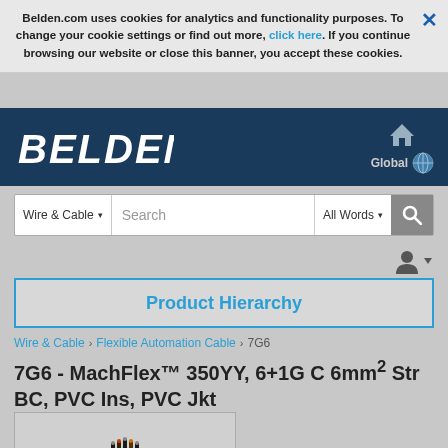Belden.com uses cookies for analytics and functionality purposes. To change your cookie settings or find out more, click here. If you continue browsing our website or close this banner, you accept these cookies.
[Figure (logo): Belden logo in white italic text on dark navy background]
Wire & Cable ▾  Search  All Words ▾  🔍
Product Hierarchy
Wire & Cable › Flexible Automation Cable › 7G6
7G6 - MachFlex™ 350YY, 6+1G C 6mm² Str BC, PVC Ins, PVC Jkt
[Figure (photo): Photo of MachFlex cable bundle showing multiple conductors]